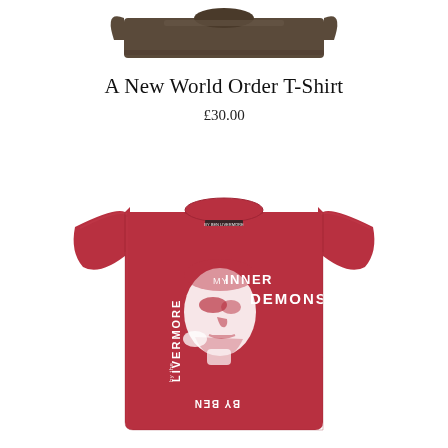[Figure (photo): Partial view of a dark olive/brown folded T-shirt, cropped at the top of the page]
A New World Order T-Shirt
£30.00
[Figure (photo): Red T-shirt with white graphic print featuring a face and text reading 'MY INNER DEMONS' and 'BY BEN LIVERMORE' arranged in a stylized layout]